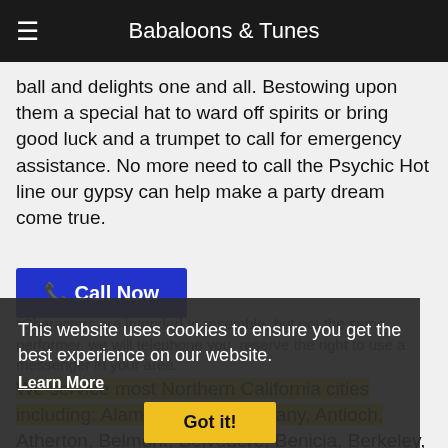Babaloons & Tunes
ball and delights one and all. Bestowing upon them a special hat to ward off spirits or bring good luck and a trumpet to call for emergency assistance. No more need to call the Psychic Hot line our gypsy can help make a party dream come true.
📞 Call Now
This website uses cookies to ensure you get the best experience on our website.
Learn More
Got it!
*Characters are intended to resemble, but not the same performer, we will telephone you,  reserve the right to use a messenger in your area.
We service most Northern California cities including: Alameda, Alamo, Albany, Antioch, Atherton, Belmont, Belvedere, Benicia, Berkeley, Brisbane, Broadmore, Burlingame, Campbell,